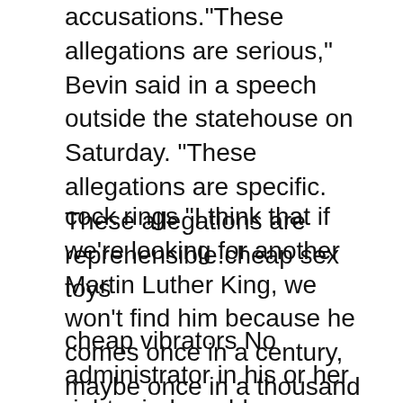accusations."These allegations are serious," Bevin said in a speech outside the statehouse on Saturday. "These allegations are specific. These allegations are reprehensible.cheap sex toys
cock rings “I think that if we’re looking for another Martin Luther King, we won’t find him because he comes once in a century, maybe once in a thousand years,” Mrs. King replied. “But there are many other persons now who will come forth, I believe, and assume leadership that they never assumed before, because they feel that there is this need.”.cock rings
cheap vibrators No administrator in his or her right mind would implement a plan which would cost him or her their job, yet this would more than likely be the case if a plan to distribute condoms was enacted. Parents form grass roots committees whenever things do not go their way, and a plan as “radical” as making condoms available